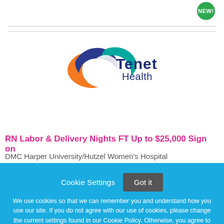[Figure (logo): NEW! badge — green circular badge with white bold text 'NEW!']
[Figure (logo): Tenet Health logo — interlocking blue, teal, and orange swoosh circles with 'Tenet Health' text in dark navy]
RN Labor & Delivery Nights FT Up to $25,000 Sign on
DMC Harper University/Hutzel Women's Hospital
Cookie Settings   Got it
We use cookies so that we can remember you and understand how you use our site. If you do not agree with our use of cookies, please change the current settings found in our Cookie Policy. Otherwise, you agree to the use of the cookies as they are currently set.